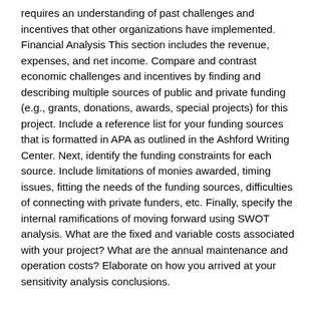requires an understanding of past challenges and incentives that other organizations have implemented. Financial Analysis This section includes the revenue, expenses, and net income. Compare and contrast economic challenges and incentives by finding and describing multiple sources of public and private funding (e.g., grants, donations, awards, special projects) for this project. Include a reference list for your funding sources that is formatted in APA as outlined in the Ashford Writing Center. Next, identify the funding constraints for each source. Include limitations of monies awarded, timing issues, fitting the needs of the funding sources, difficulties of connecting with private funders, etc. Finally, specify the internal ramifications of moving forward using SWOT analysis. What are the fixed and variable costs associated with your project? What are the annual maintenance and operation costs? Elaborate on how you arrived at your sensitivity analysis conclusions.